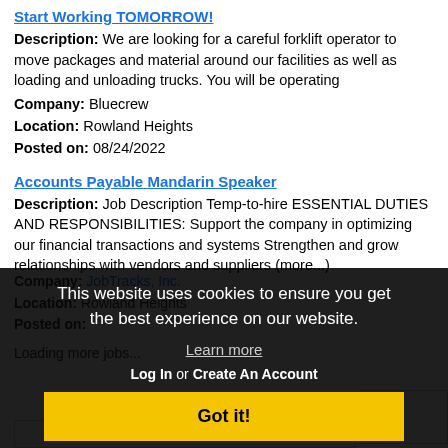Start Working TOMORROW!
Description: We are looking for a careful forklift operator to move packages and material around our facilities as well as loading and unloading trucks. You will be operating
Company: Bluecrew
Location: Rowland Heights
Posted on: 08/24/2022
Accounts Payable Mandarin Speaker
Description: Job Description Temp-to-hire ESSENTIAL DUTIES AND RESPONSIBILITIES: Support the company in optimizing our financial transactions and systems Strengthen and grow relationships with vendors and suppliers (more...)
Company: JobTracks, Inc.
Location: Rowland Heights
Posted on:
Loading more jobs...
This website uses cookies to ensure you get the best experience on our website.
Learn more
Log In or Create An Account
Got it!
Username: